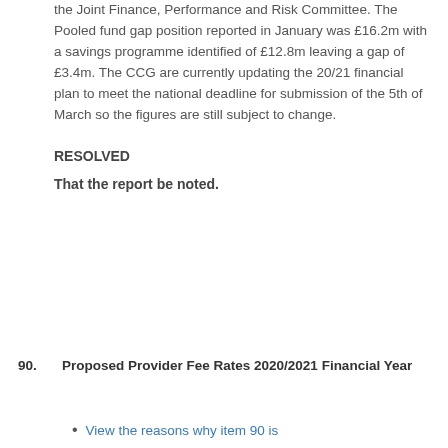the Joint Finance, Performance and Risk Committee. The Pooled fund gap position reported in January was £16.2m with a savings programme identified of £12.8m leaving a gap of £3.4m. The CCG are currently updating the 20/21 financial plan to meet the national deadline for submission of the 5th of March so the figures are still subject to change.
RESOLVED
That the report be noted.
90.  Proposed Provider Fee Rates 2020/2021 Financial Year
View the reasons why item 90 is